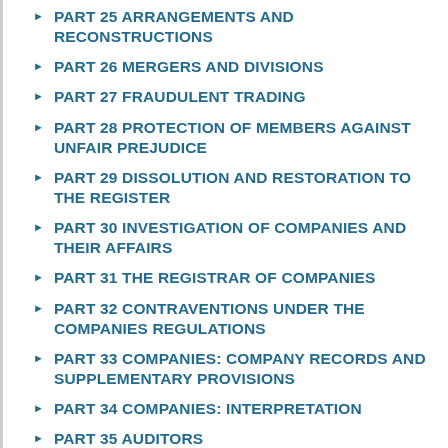PART 25 ARRANGEMENTS AND RECONSTRUCTIONS
PART 26 MERGERS AND DIVISIONS
PART 27 FRAUDULENT TRADING
PART 28 PROTECTION OF MEMBERS AGAINST UNFAIR PREJUDICE
PART 29 DISSOLUTION AND RESTORATION TO THE REGISTER
PART 30 INVESTIGATION OF COMPANIES AND THEIR AFFAIRS
PART 31 THE REGISTRAR OF COMPANIES
PART 32 CONTRAVENTIONS UNDER THE COMPANIES REGULATIONS
PART 33 COMPANIES: COMPANY RECORDS AND SUPPLEMENTARY PROVISIONS
PART 34 COMPANIES: INTERPRETATION
PART 35 AUDITORS
PART 36 CELL COMPANIES
PART 37 GENERAL SUPPLEMENTARY